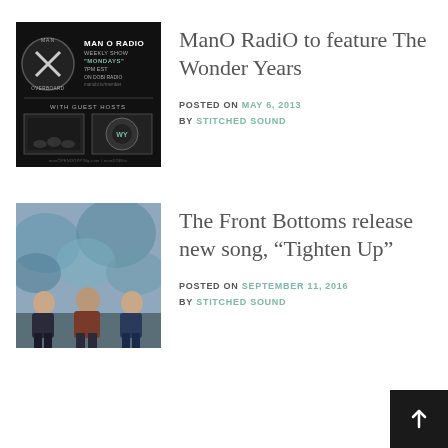[Figure (photo): Promotional image for ManO RadioO weekly show featuring Man Overboard logo and The Wonder Years guest hosts]
ManO RadiO to feature The Wonder Years
POSTED ON MAY 6, 2013 BY STITCHED SOUND
[Figure (photo): Photo of The Front Bottoms band members sitting against a painted wall]
The Front Bottoms release new song, “Tighten Up”
POSTED ON SEPTEMBER 11, 2016 BY STITCHED SOUND